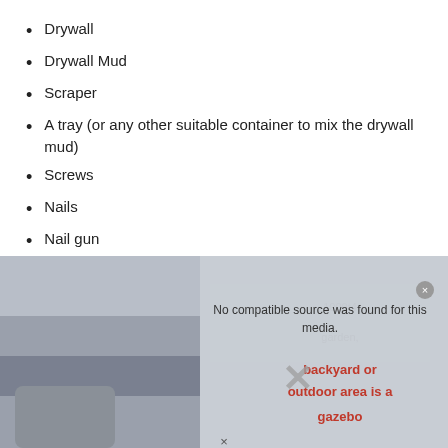Drywall
Drywall Mud
Scraper
A tray (or any other suitable container to mix the drywall mud)
Screws
Nails
Nail gun
Stud finder
Pencil
Acrylic paint
Paintbrush
Primer
Pry bar (optional)
Mudding tape
[Figure (screenshot): Video player error overlay showing 'No compatible source was found for this media.' message with a close button and X icon, overlaid on a blurred background image with text about backyard or outdoor area being a gazebo]